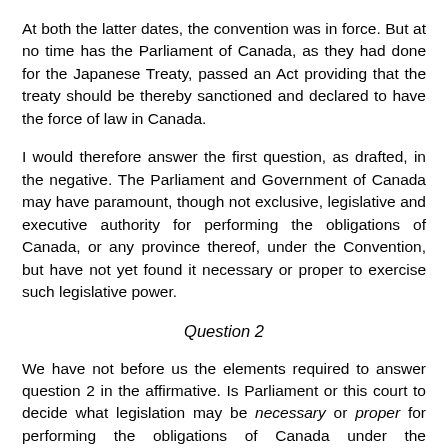At both the latter dates, the convention was in force. But at no time has the Parliament of Canada, as they had done for the Japanese Treaty, passed an Act providing that the treaty should be thereby sanctioned and declared to have the force of law in Canada.
I would therefore answer the first question, as drafted, in the negative. The Parliament and Government of Canada may have paramount, though not exclusive, legislative and executive authority for performing the obligations of Canada, or any province thereof, under the Convention, but have not yet found it necessary or proper to exercise such legislative power.
Question 2
We have not before us the elements required to answer question 2 in the affirmative. Is Parliament or this court to decide what legislation may be necessary or proper for performing the obligations of Canada under the Convention?